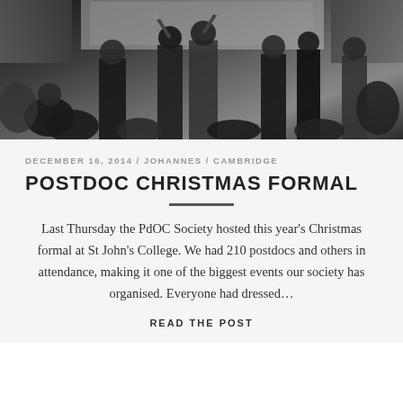[Figure (photo): Black and white photograph of a formal event with a crowd of people dressed in formal attire, some raising glasses in a toast, in what appears to be a hall or venue.]
DECEMBER 16, 2014 / JOHANNES / CAMBRIDGE
POSTDOC CHRISTMAS FORMAL
Last Thursday the PdOC Society hosted this year's Christmas formal at St John's College. We had 210 postdocs and others in attendance, making it one of the biggest events our society has organised. Everyone had dressed…
READ THE POST